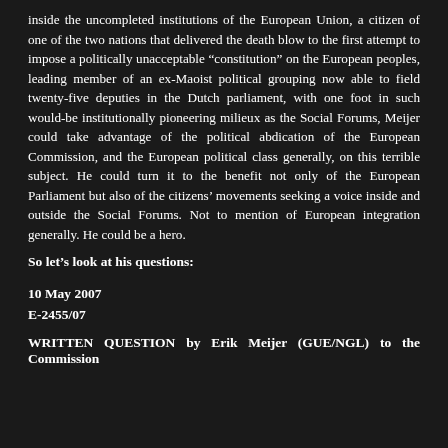inside the uncompleted institutions of the European Union, a citizen of one of the two nations that delivered the death blow to the first attempt to impose a politically unacceptable "constitution" on the European peoples, leading member of an ex-Maoist political grouping now able to field twenty-five deputies in the Dutch parliament, with one foot in such would-be institutionally pioneering milieux as the Social Forums, Meijer could take advantage of the political abdication of the European Commission, and the European political class generally, on this terrible subject. He could turn it to the benefit not only of the European Parliament but also of the citizens' movements seeking a voice inside and outside the Social Forums. Not to mention of European integration generally. He could be a hero.
So let's look at his questions:
10 May 2007
E-2455/07
WRITTEN QUESTION by Erik Meijer (GUE/NGL) to the Commission